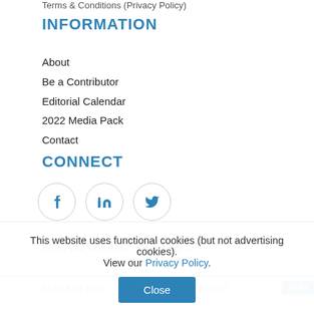Terms & Conditions (Privacy Policy)
INFORMATION
About
Be a Contributor
Editorial Calendar
2022 Media Pack
Contact
CONNECT
[Figure (infographic): Social media icons: Facebook (f), LinkedIn (in), Twitter (bird) — each in a light grey circle border]
MAGAZINE ISSUES
#136 Aug 2022   #135 - Jul 2022   #134
This website uses functional cookies (but not advertising cookies). View our Privacy Policy.
Close